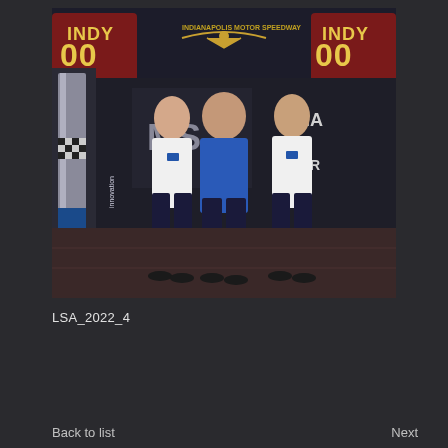[Figure (photo): Three men standing in front of an Indianapolis Motor Speedway / Indy 500 branded backdrop and media center signage. A tall trophy or award with 'innovation' text and checkered flag design stands to the left. The man on the left and right wear white shirts with logos, the man in the middle wears a blue polo shirt.]
LSA_2022_4
Back to list
Next